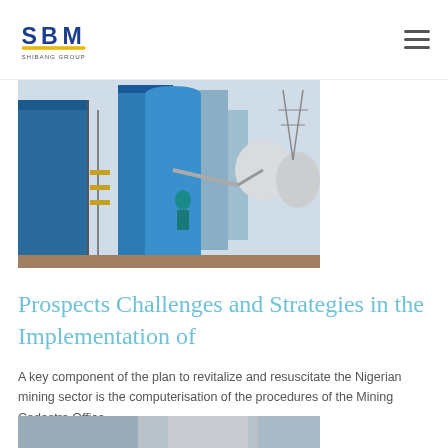SBM SHIBANG GROUP
[Figure (photo): Industrial mining equipment and machinery at a facility, showing large blue structures, silos, scaffolding, pipes, and an electricity pylon in the background.]
Prospects Challenges and Strategies in the Implementation of
A key component of the plan to revitalize and resuscitate the Nigerian mining sector is the computerisation of the procedures of the Mining Cadastre Office
[Figure (photo): Partial view of mining/industrial equipment at the bottom of the page.]